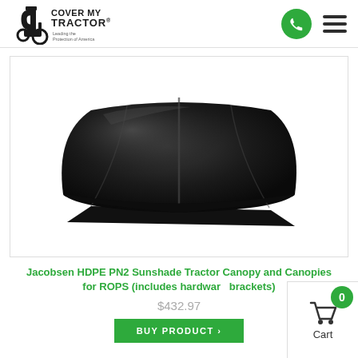[Figure (logo): Cover My Tractor logo with tractor icon and brand name]
[Figure (photo): Black HDPE tractor canopy/sunshade product shown at an angle against white background]
Jacobsen HDPE PN2 Sunshade Tractor Canopy and Canopies for ROPS (includes hardware brackets)
$432.97
BUY PRODUCT >